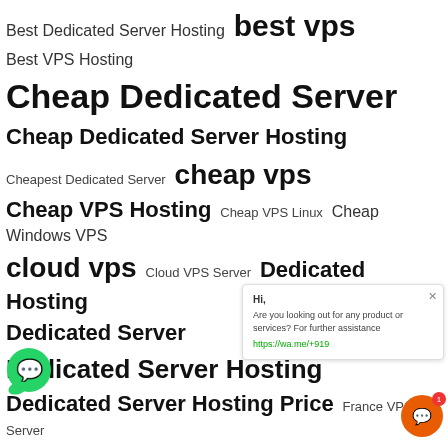Best Dedicated Server Hosting   best vps
Best VPS Hosting
Cheap Dedicated Server
Cheap Dedicated Server Hosting
Cheapest Dedicated Server   cheap vps
Cheap VPS Hosting   Cheap VPS Linux   Cheap Windows VPS
cloud vps   Cloud VPS Server   Dedicated Hosting
Dedicated Server
Dedicated Server Hosting
Dedicated Server Hosting Price   France VPS Server
Gaming Dedicated Server
Hong Kong Dedicated Server   Hong Kong Dedicated Server Hosting
Italy VPS   Italy VPS Hosting   kvm vps